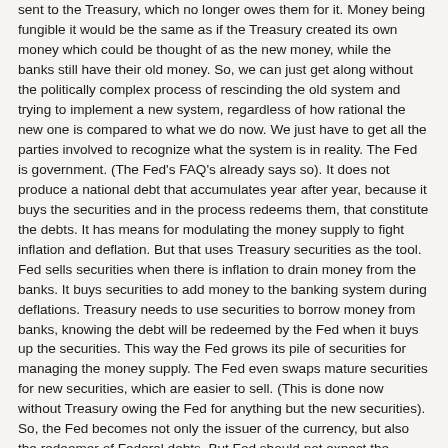sent to the Treasury, which no longer owes them for it. Money being fungible it would be the same as if the Treasury created its own money which could be thought of as the new money, while the banks still have their old money. So, we can just get along without the politically complex process of rescinding the old system and trying to implement a new system, regardless of how rational the new one is compared to what we do now. We just have to get all the parties involved to recognize what the system is in reality. The Fed is government. (The Fed's FAQ's already says so). It does not produce a national debt that accumulates year after year, because it buys the securities and in the process redeems them, that constitute the debts. It has means for modulating the money supply to fight inflation and deflation. But that uses Treasury securities as the tool. Fed sells securities when there is inflation to drain money from the banks. It buys securities to add money to the banking system during deflations. Treasury needs to use securities to borrow money from banks, knowing the debt will be redeemed by the Fed when it buys up the securities. This way the Fed grows its pile of securities for managing the money supply. The Fed even swaps mature securities for new securities, which are easier to sell. (This is done now without Treasury owing the Fed for anything but the new securities). So, the Fed becomes not only the issuer of the currency, but also the redeemer of Federal debts. But Fed should not expect the Treasury